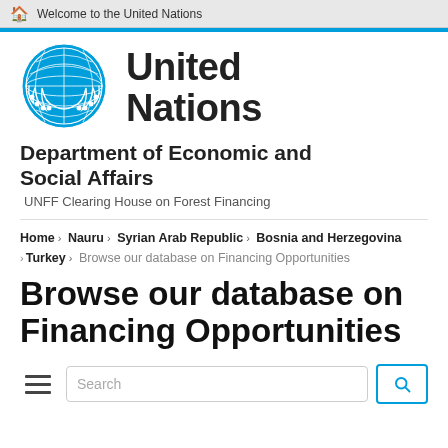Welcome to the United Nations
[Figure (logo): United Nations emblem logo in blue]
United Nations
Department of Economic and Social Affairs
UNFF Clearing House on Forest Financing
Home › Nauru › Syrian Arab Republic › Bosnia and Herzegovina › Turkey › Browse our database on Financing Opportunities
Browse our database on Financing Opportunities